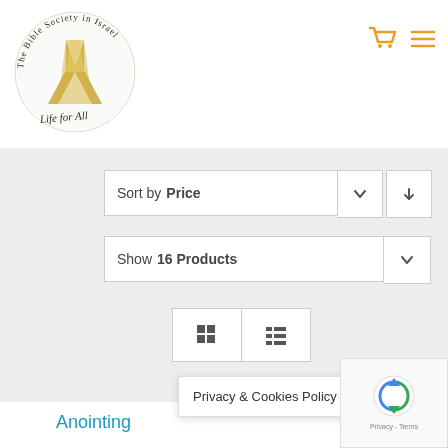[Figure (logo): The Bible Society in Israel logo — circular text with gold cross/book emblem and cursive tagline 'Life for All']
[Figure (other): Navigation icons: orange shopping cart and orange hamburger menu]
Sort by Price
Show 16 Products
[Figure (other): Grid view and list view toggle buttons]
Anointing
Privacy & Cookies Policy
[Figure (other): reCAPTCHA widget with Privacy and Terms links]